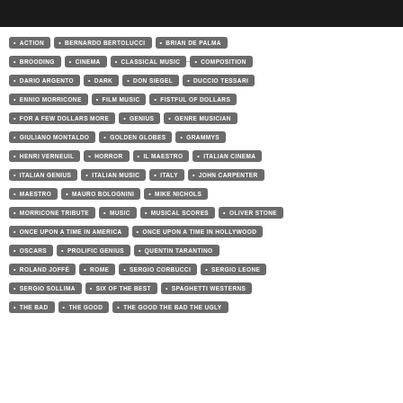[Figure (other): Black header bar at top of page]
ACTION
BERNARDO BERTOLUCCI
BRIAN DE PALMA
BROODING
CINEMA
CLASSICAL MUSIC
COMPOSITION
DARIO ARGENTO
DARK
DON SIEGEL
DUCCIO TESSARI
ENNIO MORRICONE
FILM MUSIC
FISTFUL OF DOLLARS
FOR A FEW DOLLARS MORE
GENIUS
GENRE MUSICIAN
GIULIANO MONTALDO
GOLDEN GLOBES
GRAMMYS
HENRI VERNEUIL
HORROR
IL MAESTRO
ITALIAN CINEMA
ITALIAN GENIUS
ITALIAN MUSIC
ITALY
JOHN CARPENTER
MAESTRO
MAURO BOLOGNINI
MIKE NICHOLS
MORRICONE TRIBUTE
MUSIC
MUSICAL SCORES
OLIVER STONE
ONCE UPON A TIME IN AMERICA
ONCE UPON A TIME IN HOLLYWOOD
OSCARS
PROLIFIC GENIUS
QUENTIN TARANTINO
ROLAND JOFFÉ
ROME
SERGIO CORBUCCI
SERGIO LEONE
SERGIO SOLLIMA
SIX OF THE BEST
SPAGHETTI WESTERNS
THE BAD
THE GOOD
THE GOOD THE BAD THE UGLY